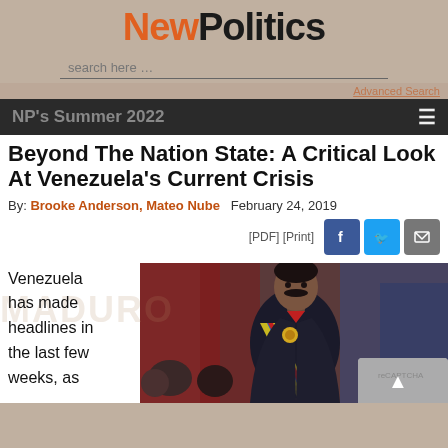NewPolitics
search here …
Advanced Search
NP's Summer 2022
Beyond The Nation State: A Critical Look At Venezuela's Current Crisis
By: Brooke Anderson, Mateo Nube  February 24, 2019
[PDF] [Print]
[Figure (photo): Portrait photo of Nicolas Maduro in formal attire with presidential sash, at what appears to be an official ceremony]
Venezuela has made headlines in the last few weeks, as